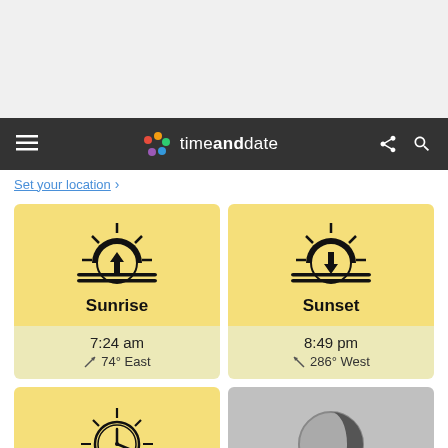timeanddate
Set your location ›
[Figure (illustration): Sunrise card with sun rising above horizon with up arrow icon, showing 7:24 am, 74° East]
[Figure (illustration): Sunset card with sun setting below horizon with down arrow icon, showing 8:49 pm, 286° West]
[Figure (illustration): Bottom left card with sun and clock icon (solar noon or day length)]
[Figure (illustration): Bottom right card with moon phase illustration (partial moon, gray tones)]